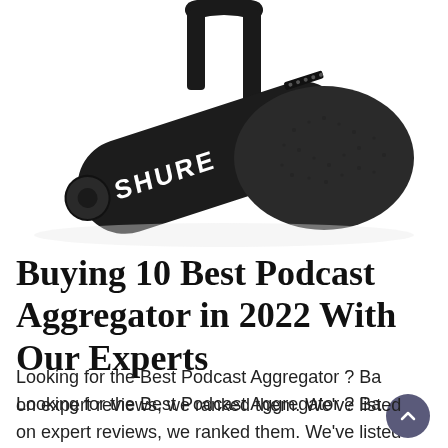[Figure (photo): Close-up photograph of a black Shure podcasting/broadcast microphone with foam windscreen, mounted in a yoke/swing mount. The microphone has the SHURE logo in white on its body and visible knobs/controls.]
Buying 10 Best Podcast Aggregator in 2022 With Our Experts
Looking for the Best Podcast Aggregator ? Based on expert reviews, we ranked them. We've listed